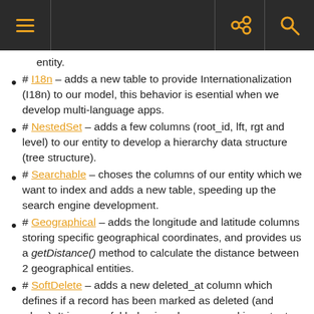entity.
# I18n – adds a new table to provide Internationalization (I18n) to our model, this behavior is esential when we develop multi-language apps.
# NestedSet – adds a few columns (root_id, lft, rgt and level) to our entity to develop a hierarchy data structure (tree structure).
# Searchable – choses the columns of our entity which we want to index and adds a new table, speeding up the search engine development.
# Geographical – adds the longitude and latitude columns storing specific geographical coordinates, and provides us a getDistance() method to calculate the distance between 2 geographical entities.
# SoftDelete – adds a new deleted_at column which defines if a record has been marked as deleted (and when). It is an useful behavior when we need important